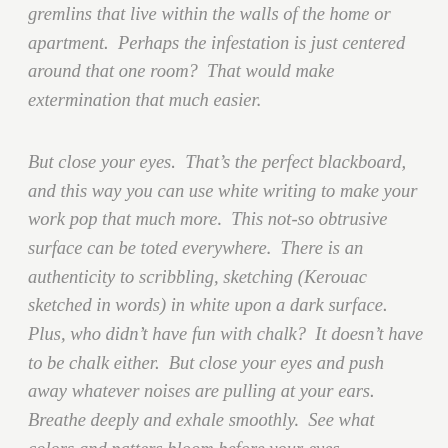gremlins that live within the walls of the home or apartment.  Perhaps the infestation is just centered around that one room?  That would make extermination that much easier.
But close your eyes.  That's the perfect blackboard, and this way you can use white writing to make your work pop that much more.  This not-so obtrusive surface can be toted everywhere.  There is an authenticity to scribbling, sketching (Kerouac sketched in words) in white upon a dark surface.  Plus, who didn't have fun with chalk?  It doesn't have to be chalk either.  But close your eyes and push away whatever noises are pulling at your ears.  Breathe deeply and exhale smoothly.  See what colors and patters bloom before your eyes.